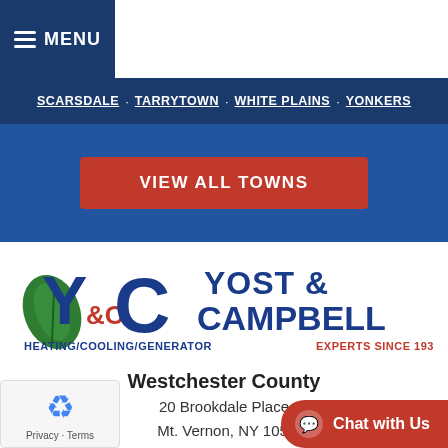MENU  1.800.640.9678
SCARSDALE · TARRYTOWN · WHITE PLAINS · YONKERS
VIEW ALL TOWNS
[Figure (logo): Yost & Campbell logo — Y&C letters in blue and red with green leaf, tagline: HEATING/COOLING/GENERATOR EXPERTS SINCE 1939]
Westchester County
20 Brookdale Place
Mt. Vernon, NY 1055...
914.668.6461